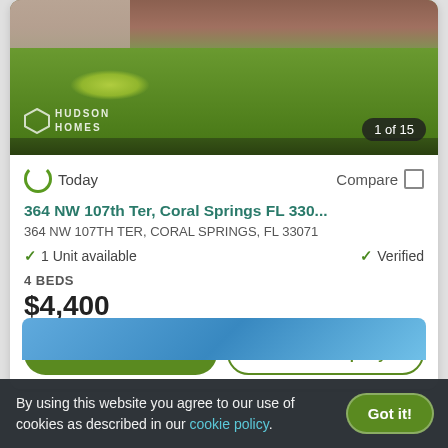[Figure (photo): Exterior photo of a single-family home with green lawn, brick facade, and 'Hudson Homes' watermark logo. Badge shows '1 of 15'.]
Today
Compare
364 NW 107th Ter, Coral Springs FL 330...
364 NW 107TH TER, CORAL SPRINGS, FL 33071
1 Unit available
Verified
4 BEDS
$4,400
View Details
Contact Property
[Figure (photo): Bottom portion of a second listing card showing blue sky background, partially visible.]
By using this website you agree to our use of cookies as described in our cookie policy.
Got it!